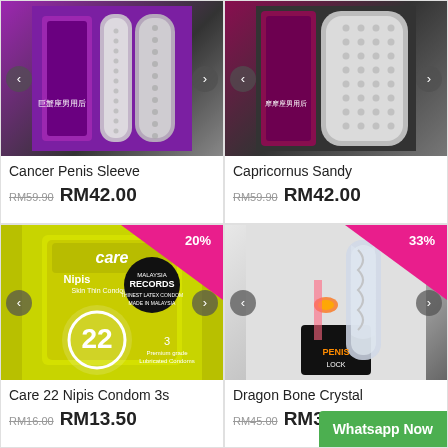[Figure (photo): Product image of Cancer Penis Sleeve - transparent textured sleeve with purple packaging]
Cancer Penis Sleeve
RM59.90 RM42.00
[Figure (photo): Product image of Capricornus Sandy - transparent textured sleeve with pink packaging]
Capricornus Sandy
RM59.90 RM42.00
[Figure (photo): Product image of Care 22 Nipis Condom 3s - yellow box with Malaysia Records branding, 20% discount badge]
Care 22 Nipis Condom 3s
RM16.00 RM13.50
[Figure (photo): Product image of Dragon Bone Crystal - clear crystal dildo with black packaging, 33% discount badge]
Dragon Bone Crystal
RM45.00 RM30.00
Whatsapp Now